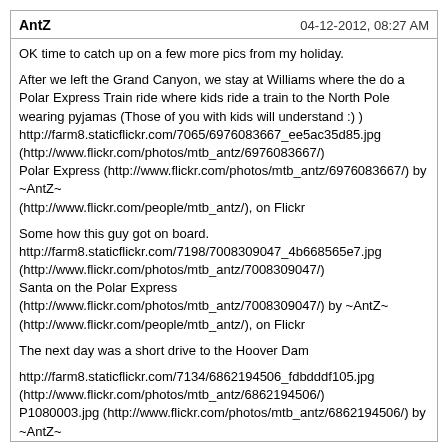AntZ    04-12-2012, 08:27 AM
OK time to catch up on a few more pics from my holiday.

After we left the Grand Canyon, we stay at Williams where the do a Polar Express Train ride where kids ride a train to the North Pole wearing pyjamas (Those of you with kids will understand :) )
http://farm8.staticflickr.com/7065/6976083667_ee5ac35d85.jpg
(http://www.flickr.com/photos/mtb_antz/6976083667/)
Polar Express (http://www.flickr.com/photos/mtb_antz/6976083667/) by ~AntZ~ (http://www.flickr.com/people/mtb_antz/), on Flickr

Some how this guy got on board.
http://farm8.staticflickr.com/7198/7008309047_4b668565e7.jpg
(http://www.flickr.com/photos/mtb_antz/7008309047/)
Santa on the Polar Express
(http://www.flickr.com/photos/mtb_antz/7008309047/) by ~AntZ~
(http://www.flickr.com/people/mtb_antz/), on Flickr

The next day was a short drive to the Hoover Dam

http://farm8.staticflickr.com/7134/6862194506_fdbdddf105.jpg
(http://www.flickr.com/photos/mtb_antz/6862194506/)
P1080003.jpg (http://www.flickr.com/photos/mtb_antz/6862194506/) by ~AntZ~
(http://www.flickr.com/people/mtb_antz/), on Flickr

http://farm8.staticflickr.com/7088/6862228748_cbddd94114.jpg
(http://www.flickr.com/photos/mtb_antz/6862228748/)
Hoover Wall (http://www.flickr.com/photos/mtb_antz/6862228748/) by ~AntZ~
(http://www.flickr.com/people/mtb_antz/), on Flickr

This is where the power is generated.
http://farm6.staticflickr.com/5349/6924437240_5827b92dc3.jpg
(http://www.flickr.com/photos/mtb_antz/6924437240/)
Turbines of The Hoover Dam
(http://www.flickr.com/photos/mtb_antz/6924437240/) by ~AntZ~
(http://www.flickr.com/people/mtb_antz/), on Flickr